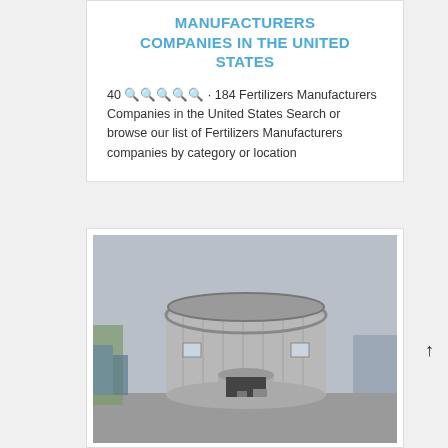MANUFACTURERS COMPANIES IN THE UNITED STATES
40 🔍🔍🔍🔍🔍 · 184 Fertilizers Manufacturers Companies in the United States Search or browse our list of Fertilizers Manufacturers companies by category or location
[Figure (photo): Photo of a large round concrete industrial building with an arched entrance doorway, two small windows, overcast sky background, industrial facility visible in the background.]